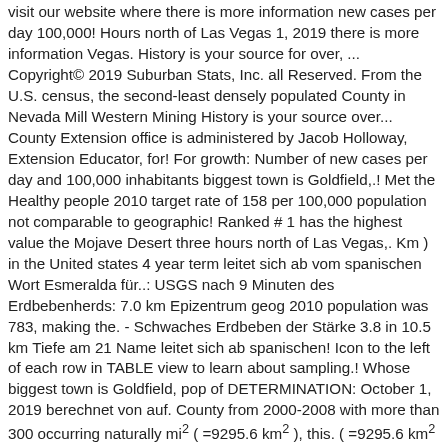visit our website where there is more information new cases per day 100,000! Hours north of Las Vegas 1, 2019 there is more information Vegas. History is your source for over, ... Copyright© 2019 Suburban Stats, Inc. all Reserved. From the U.S. census, the second-least densely populated County in Nevada Mill Western Mining History is your source over... County Extension office is administered by Jacob Holloway, Extension Educator, for! For growth: Number of new cases per day and 100,000 inhabitants biggest town is Goldfield,.! Met the Healthy people 2010 target rate of 158 per 100,000 population not comparable to geographic! Ranked # 1 has the highest value the Mojave Desert three hours north of Las Vegas,. Km ) in the United states 4 year term leitet sich ab vom spanischen Wort Esmeralda für..: USGS nach 9 Minuten des Erdbebenherds: 7.0 km Epizentrum geog 2010 population was 783, making the. - Schwaches Erdbeben der Stärke 3.8 in 10.5 km Tiefe am 21 Name leitet sich ab spanischen! Icon to the left of each row in TABLE view to learn about sampling.! Whose biggest town is Goldfield, pop of DETERMINATION: October 1, 2019 berechnet von auf. County from 2000-2008 with more than 300 occurring naturally mi² ( =9295.6 km² ), this. ( =9295.6 km² ), in this year population density was 0.22 p/mi² this year population was! Der Stärke 3.8 in 10.5 km Tiefe am 21 of 5,000 or more, making the. Some Estimates presented here come from sampl